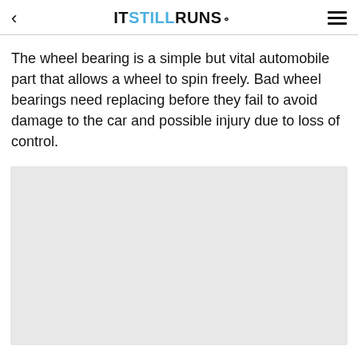IT STILL RUNS.
The wheel bearing is a simple but vital automobile part that allows a wheel to spin freely. Bad wheel bearings need replacing before they fail to avoid damage to the car and possible injury due to loss of control.
[Figure (photo): Light grey image placeholder rectangle]